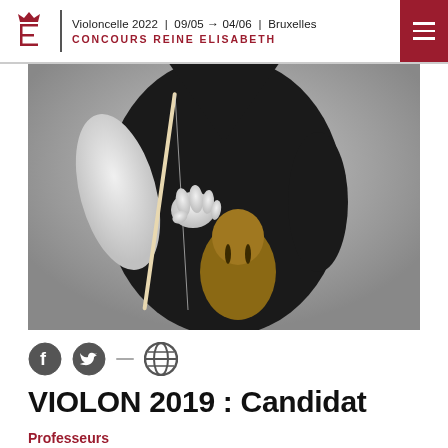Violoncelle 2022 | 09/05 → 04/06 | Bruxelles
CONCOURS REINE ELISABETH
[Figure (photo): Black and white photograph of a female musician in a black dress holding a violin and bow, torso only visible]
[Figure (other): Social media icons row: Facebook, Twitter, and Globe/Website icons]
VIOLON 2019 : Candidat
Professeurs